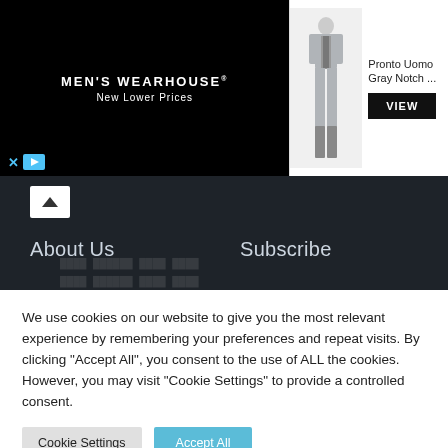[Figure (screenshot): Men's Wearhouse advertisement banner with black left section showing logo and 'New Lower Prices', center showing a man in gray suit with 'Pronto Uomo Gray Notch...' product name and VIEW button, right showing wedding couple photo]
About Us
Subscribe
Latest News
Contact Us
We use cookies on our website to give you the most relevant experience by remembering your preferences and repeat visits. By clicking “Accept All”, you consent to the use of ALL the cookies. However, you may visit "Cookie Settings" to provide a controlled consent.
Cookie Settings | Accept All